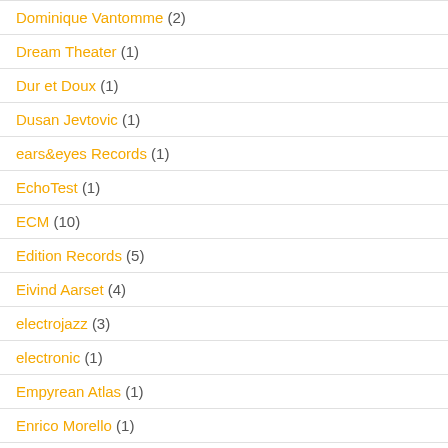Dominique Vantomme (2)
Dream Theater (1)
Dur et Doux (1)
Dusan Jevtovic (1)
ears&eyes Records (1)
EchoTest (1)
ECM (10)
Edition Records (5)
Eivind Aarset (4)
electrojazz (3)
electronic (1)
Empyrean Atlas (1)
Enrico Morello (1)
Enrico Zanisi (1)